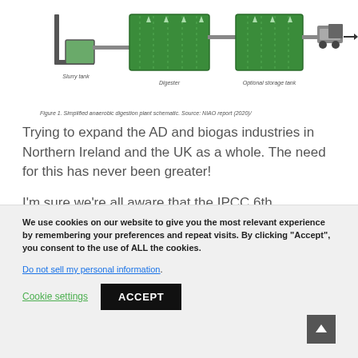[Figure (schematic): Simplified anaerobic digestion plant schematic showing slurry tank, digester, optional storage tank, and truck for output transport]
Figure 1. Simplified anaerobic digestion plant schematic. Source: NIAO report (2020)/
Trying to expand the AD and biogas industries in Northern Ireland and the UK as a whole. The need for this has never been greater!
I'm sure we're all aware that the IPCC 6th
We use cookies on our website to give you the most relevant experience by remembering your preferences and repeat visits. By clicking “Accept”, you consent to the use of ALL the cookies.
Do not sell my personal information.